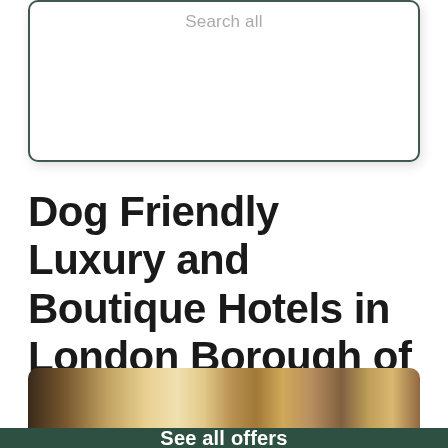Search all
Dog Friendly Luxury and Boutique Hotels in London Borough of Sutton
[Figure (photo): Interior hotel lobby photo showing an elegant staircase with warm lighting]
See all offers